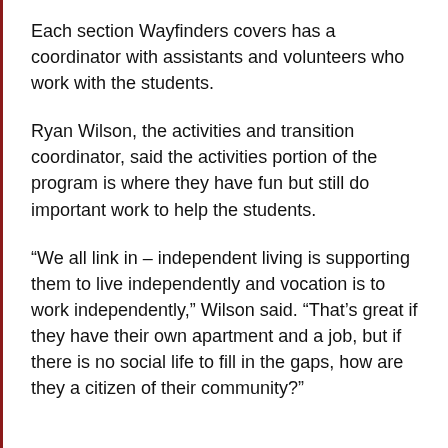Each section Wayfinders covers has a coordinator with assistants and volunteers who work with the students.
Ryan Wilson, the activities and transition coordinator, said the activities portion of the program is where they have fun but still do important work to help the students.
“We all link in – independent living is supporting them to live independently and vocation is to work independently,” Wilson said. “That’s great if they have their own apartment and a job, but if there is no social life to fill in the gaps, how are they a citizen of their community?”